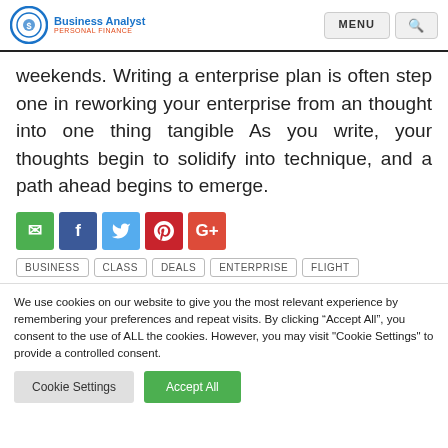Business Analyst | MENU | Search
weekends. Writing a enterprise plan is often step one in reworking your enterprise from an thought into one thing tangible As you write, your thoughts begin to solidify into technique, and a path ahead begins to emerge.
[Figure (other): Row of social sharing buttons: comment (green), Facebook (dark blue), Twitter (light blue), Pinterest (red), Google+ (orange-red)]
BUSINESS  CLASS  DEALS  ENTERPRISE  FLIGHT
We use cookies on our website to give you the most relevant experience by remembering your preferences and repeat visits. By clicking “Accept All”, you consent to the use of ALL the cookies. However, you may visit "Cookie Settings" to provide a controlled consent.
Cookie Settings  Accept All